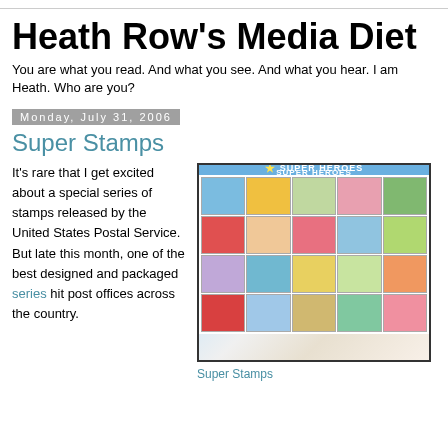Heath Row's Media Diet
You are what you read. And what you see. And what you hear. I am Heath. Who are you?
Monday, July 31, 2006
Super Stamps
It's rare that I get excited about a special series of stamps released by the United States Postal Service. But late this month, one of the best designed and packaged series hit post offices across the country.
[Figure (photo): A sheet of DC Super Heroes postage stamps showing a 4x5 grid of colorful comic book character stamps with 'SUPER HEROES' header band]
Super Stamps